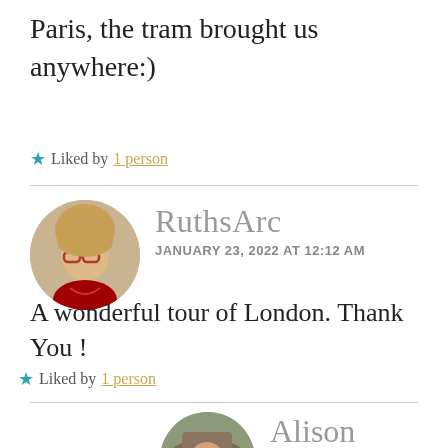Paris, the tram brought us anywhere:)
★ Liked by 1 person
[Figure (photo): Round avatar photo of RuthsArc, a woman with short blonde hair and red-framed glasses]
RuthsArc
JANUARY 23, 2022 AT 12:12 AM
A wonderful tour of London. Thank You !
★ Liked by 1 person
[Figure (photo): Round avatar photo of Alison, a person wearing a hat outdoors]
Alison
JANUARY 23, 2022 AT